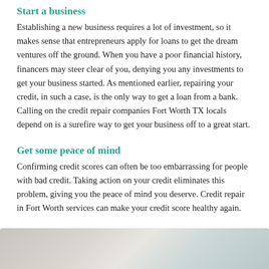Start a business
Establishing a new business requires a lot of investment, so it makes sense that entrepreneurs apply for loans to get the dream ventures off the ground. When you have a poor financial history, financers may steer clear of you, denying you any investments to get your business started. As mentioned earlier, repairing your credit, in such a case, is the only way to get a loan from a bank. Calling on the credit repair companies Fort Worth TX locals depend on is a surefire way to get your business off to a great start.
Get some peace of mind
Confirming credit scores can often be too embarrassing for people with bad credit. Taking action on your credit eliminates this problem, giving you the peace of mind you deserve. Credit repair in Fort Worth services can make your credit score healthy again.
[Figure (photo): Partial view of a document or paper surface with a light grey and teal/blue background gradient]